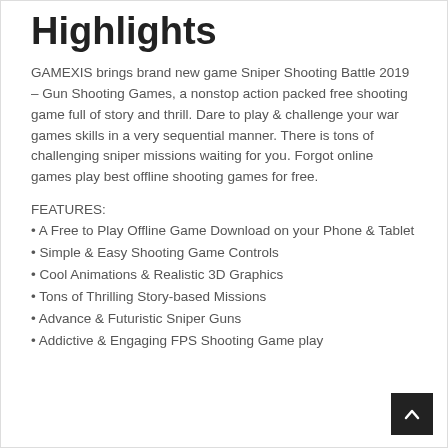Highlights
GAMEXIS brings brand new game Sniper Shooting Battle 2019 – Gun Shooting Games, a nonstop action packed free shooting game full of story and thrill. Dare to play & challenge your war games skills in a very sequential manner. There is tons of challenging sniper missions waiting for you. Forgot online games play best offline shooting games for free.
FEATURES:
• A Free to Play Offline Game Download on your Phone & Tablet
• Simple & Easy Shooting Game Controls
• Cool Animations & Realistic 3D Graphics
• Tons of Thrilling Story-based Missions
• Advance & Futuristic Sniper Guns
• Addictive & Engaging FPS Shooting Game play